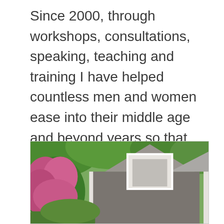Since 2000, through workshops, consultations, speaking, teaching and training I have helped countless men and women ease into their middle age and beyond years so that they are energized and productive well into their 80's and 90's.
[Figure (photo): A photo of a house with dark shingle siding, a white-trimmed gable, and slate roof, surrounded by lush green trees and pink flowering rhododendron bushes in the foreground.]